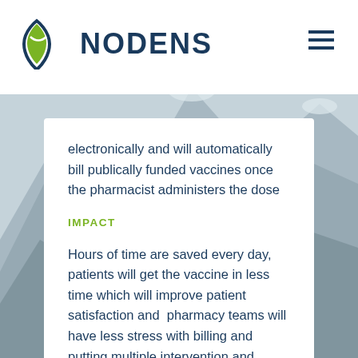NODENS
electronically and will automatically bill publically funded vaccines once the pharmacist administers the dose
IMPACT
Hours of time are saved every day, patients will get the vaccine in less time which will improve patient satisfaction and  pharmacy teams will have less stress with billing and putting multiple intervention and billing codes